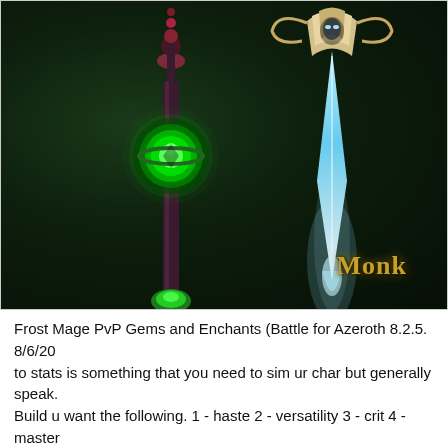[Figure (screenshot): World of Warcraft game screenshot showing two weapons on a dark green background. On the left is a staff with a glowing green orb. On the right is a blue-white glowing blade/dagger with ornate silver design at the top. The word 'Monk' appears in gold text in the lower right of the image.]
Frost Mage PvP Gems and Enchants (Battle for Azeroth 8.2.5. 8/6/20 to stats is something that you need to sim ur char but generally speak. Build u want the following. 1 - haste 2 - versatility 3 - crit 4 - master distribution to help you choose the right gear on your Fire Mage in L primary and secondary stats. Report Lions. Fire Mage Stat Priority...